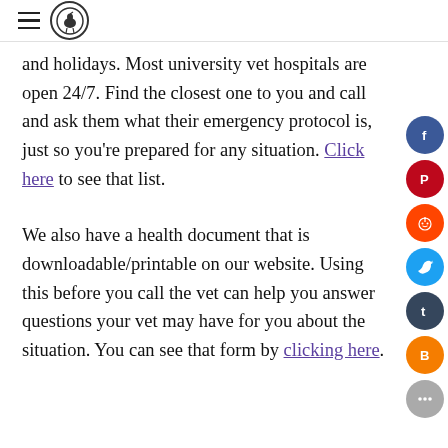[hamburger menu icon] [logo circle]
and holidays. Most university vet hospitals are open 24/7. Find the closest one to you and call and ask them what their emergency protocol is, just so you're prepared for any situation. Click here to see that list.
We also have a health document that is downloadable/printable on our website. Using this before you call the vet can help you answer questions your vet may have for you about the situation. You can see that form by clicking here.